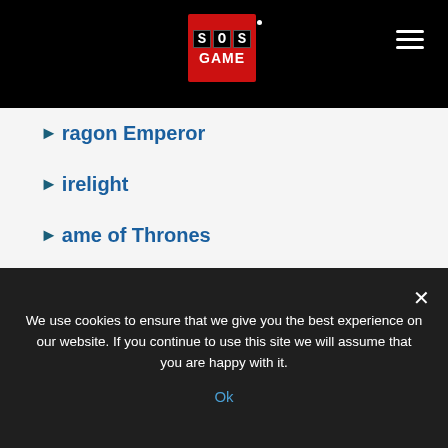SOS GAME
Dragon Emperor
Firelight
Game of Thrones
Geisha
Goblins Gold
Gold
Indian Dreaming
Let's Go Fish'n
We use cookies to ensure that we give you the best experience on our website. If you continue to use this site we will assume that you are happy with it.
Ok